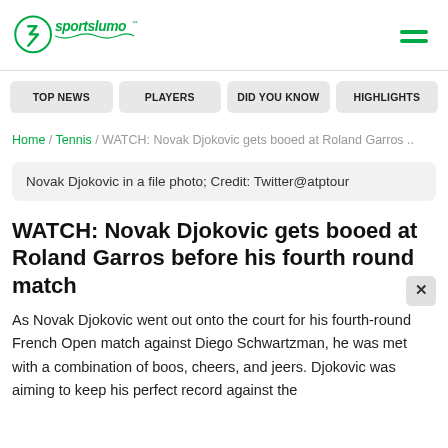sportslumo
TOP NEWS
PLAYERS
DID YOU KNOW
HIGHLIGHTS
Home / Tennis / WATCH: Novak Djokovic gets booed at Roland Garros ..
Novak Djokovic in a file photo; Credit: Twitter@atptour
WATCH: Novak Djokovic gets booed at Roland Garros before his fourth round match
As Novak Djokovic went out onto the court for his fourth-round French Open match against Diego Schwartzman, he was met with a combination of boos, cheers, and jeers. Djokovic was aiming to keep his perfect record against the